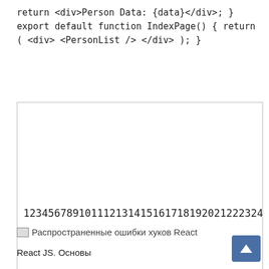return <div>Person Data: {data}</div>; } export default function IndexPage() { return ( <div> <PersonList /> </div> ); }
[Figure (screenshot): A bordered box containing a number line: 123456789101112131415161718192021222324252627 28 (continues off screen)]
Распространенные ошибки хуков React
React JS. Основы